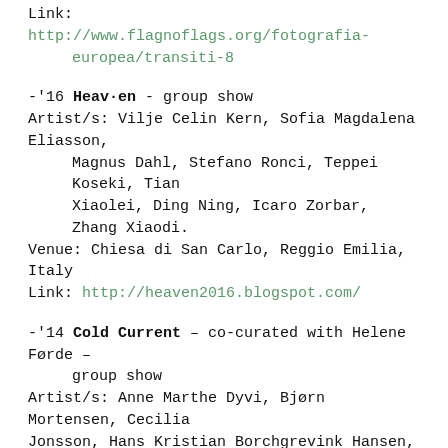Link: http://www.flagnoflags.org/fotografia-europea/transiti-8
-'16 Heav·en - group show
Artist/s: Vilje Celin Kern, Sofia Magdalena Eliasson, Magnus Dahl, Stefano Ronci, Teppei Koseki, Tian Xiaolei, Ding Ning, Icaro Zorbar, Zhang Xiaodi.
Venue: Chiesa di San Carlo, Reggio Emilia, Italy
Link: http://heaven2016.blogspot.com/
-'14 Cold Current – co-curated with Helene Førde – group show
Artist/s: Anne Marthe Dyvi, Bjørn Mortensen, Cecilia Jonsson, Hans Kristian Borchgrevink Hansen, Hilde Kjønniksen, Hilde Skevik, Håkon Holm-Olsen, Jonas Ib Jensen, Lewis & Taggart, Linda Soh Trengereid, Mathijs van Geest, Signe Lidén.
Venues: Chiesa di San Carlo, Spazio Gerra, Officina delle Arti, and Mauriziano in Reggio Emilia, Italy